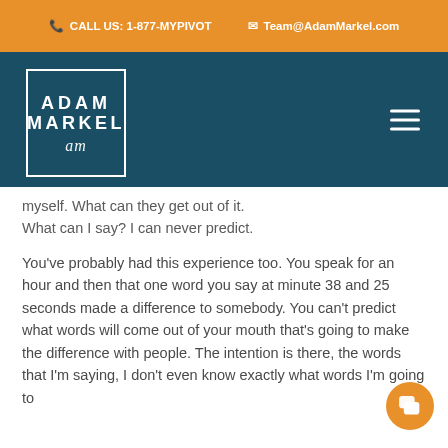CALL US: 1-877-MYPIVOT   Team@AdamMarkel.com
[Figure (logo): Adam Markel logo in white text inside a white-bordered box on a dark teal navigation bar, with hamburger menu icon on the right]
myself. What can they get out of it. What can I say? I can never predict.
You've probably had this experience too. You speak for an hour and then that one word you say at minute 38 and 25 seconds made a difference to somebody. You can't predict what words will come out of your mouth that's going to make the difference with people. The intention is there, the words that I'm saying, I don't even know exactly what words I'm going to say...